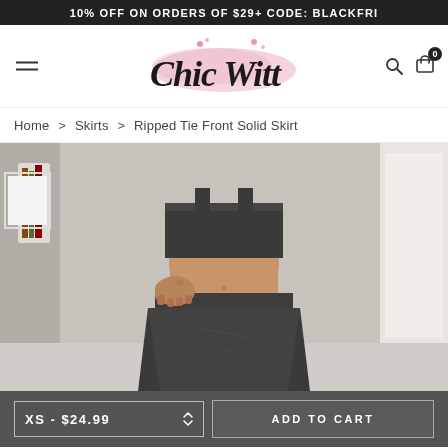10% OFF ON ORDERS OF $29+ CODE: BLACKFRI
[Figure (logo): Chic Witt brand logo with pink watercolor splash background and script font]
Home > Skirts > Ripped Tie Front Solid Skirt
[Figure (photo): Woman wearing dark crop top and dark Ripped Tie Front Solid Skirt, shown from waist down]
XS - $24.99
ADD TO CART